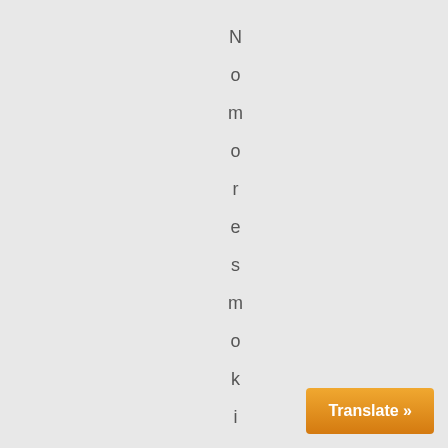No more smoking out thene is
Translate »